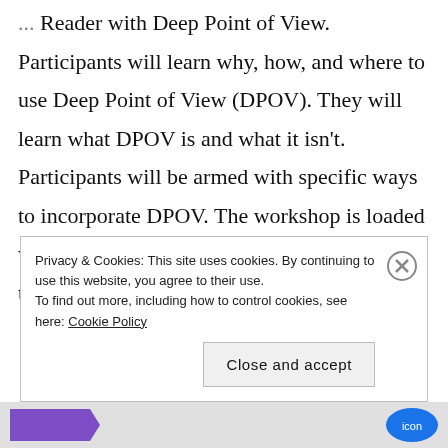Reader with Deep Point of View. Participants will learn why, how, and where to use Deep Point of View (DPOV). They will learn what DPOV is and what it isn't. Participants will be armed with specific ways to incorporate DPOV. The workshop is loaded with examples to help participants understand the concepts.
Privacy & Cookies: This site uses cookies. By continuing to use this website, you agree to their use. To find out more, including how to control cookies, see here: Cookie Policy
Close and accept